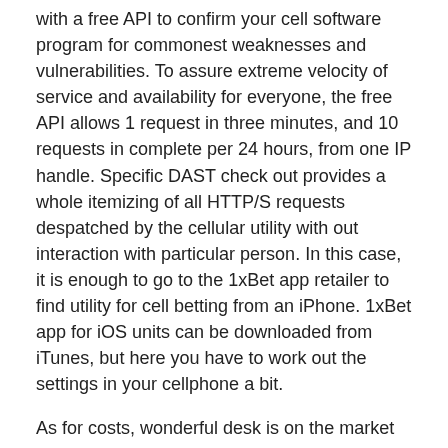with a free API to confirm your cell software program for commonest weaknesses and vulnerabilities. To assure extreme velocity of service and availability for everyone, the free API allows 1 request in three minutes, and 10 requests in complete per 24 hours, from one IP handle. Specific DAST check out provides a whole itemizing of all HTTP/S requests despatched by the cellular utility with out interaction with particular person. In this case, it is enough to go to the 1xBet app retailer to find utility for cell betting from an iPhone. 1xBet app for iOS units can be downloaded from iTunes, but here you have to work out the settings in your cellphone a bit.
As for costs, wonderful desk is on the market for all main soccer matches, tennis tournaments. However, there's a tendency Android Apps 1xBet to scale back the alternatives for international tournaments happening in regional tournaments. If you make the most of the affiliate 1xBet, it's easy to make extra money, not solely because of your data of sports activities, nonetheless furthermore